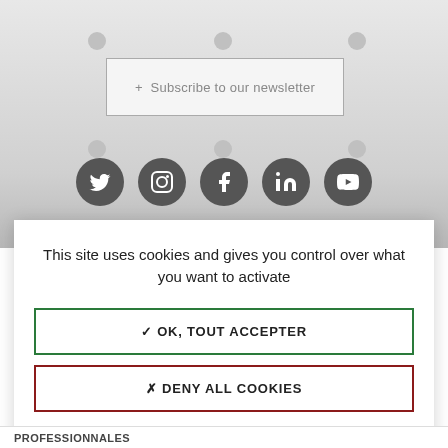[Figure (screenshot): Website background with decorative grey dots, a Subscribe to our newsletter button, and social media icons (Twitter, Instagram, Facebook, LinkedIn, YouTube)]
This site uses cookies and gives you control over what you want to activate
✓ OK, TOUT ACCEPTER
✗ DENY ALL COOKIES
→ PERSONNALISER
PROFESSIONNALES